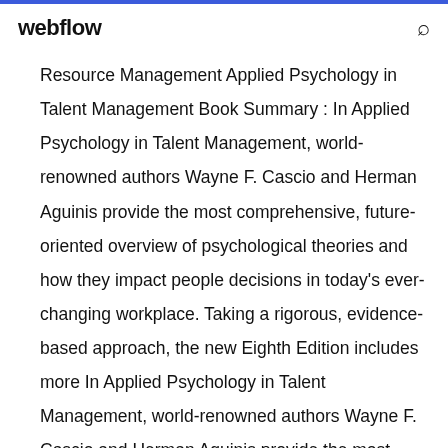webflow
Resource Management Applied Psychology in Talent Management Book Summary : In Applied Psychology in Talent Management, world-renowned authors Wayne F. Cascio and Herman Aguinis provide the most comprehensive, future-oriented overview of psychological theories and how they impact people decisions in today's ever-changing workplace. Taking a rigorous, evidence-based approach, the new Eighth Edition includes more In Applied Psychology in Talent Management, world-renowned authors Wayne F. Cascio and Herman Aguinis provide the most comprehensive, future-oriented overview of psychological theories and how they impact people decisions